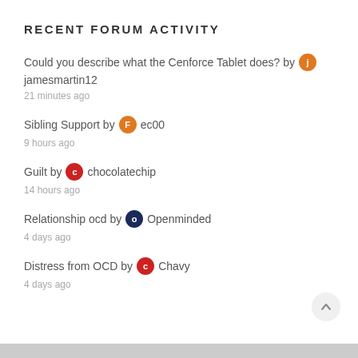RECENT FORUM ACTIVITY
Could you describe what the Cenforce Tablet does? by jamesmartin12
21 minutes ago
Sibling Support by ec00
9 hours ago
Guilt by chocolatechip
14 hours ago
Relationship ocd by Openminded
4 days ago
Distress from OCD by Chavy
4 days ago